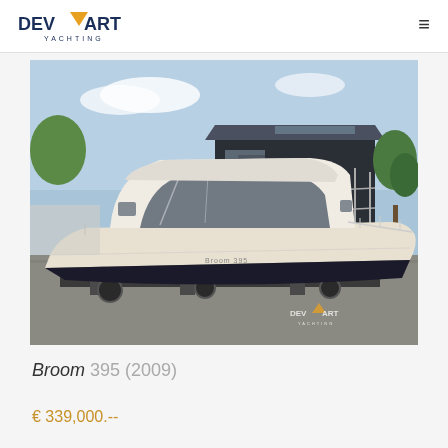DEVAART YACHTING
[Figure (photo): A white motorboat/cruiser (Broom 395) sitting on a boat trailer in a marina yard, with a dark building labeled 'de Vaart' in the background and trees/greenery visible. The DeVaart Yachting logo watermark appears in the lower right corner of the photo.]
Broom 395 (2009)
€ 339,000.--